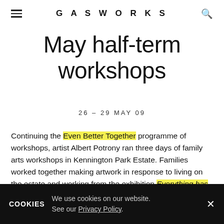GASWORKS
May half-term workshops
26 – 29 MAY 09
Continuing the Even Better Together programme of workshops, artist Albert Potrony ran three days of family arts workshops in Kennington Park Estate. Families worked together making artwork in response to living on the estate and working from the exhibition Everything has a name, or the potential to be named, exploring the different ways of connecting, mapping and recording life on the estate. Families of all generations worked alongside
COOKIES  We use cookies on our website. See our Privacy Policy.